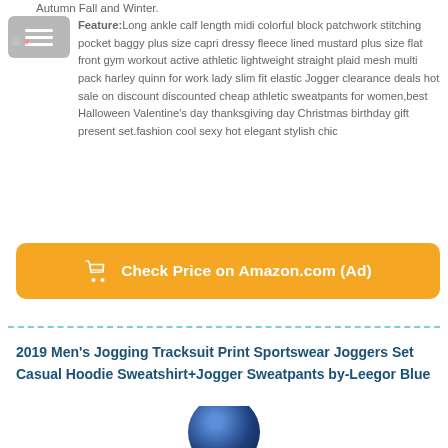Autumn Fall and Winter.
Feature:Long ankle calf length midi colorful block patchwork stitching pocket baggy plus size capri dressy fleece lined mustard plus size flat front gym workout active athletic lightweight straight plaid mesh multi pack harley quinn for work lady slim fit elastic Jogger clearance deals hot sale on discount discounted cheap athletic sweatpants for women,best Halloween Valentine's day thanksgiving day Christmas birthday gift present set.fashion cool sexy hot elegant stylish chic
[Figure (other): Orange button with shopping cart icon: Check Price on Amazon.com (Ad)]
2019 Men's Jogging Tracksuit Print Sportswear Joggers Set Casual Hoodie Sweatshirt+Jogger Sweatpants by-Leegor Blue
[Figure (photo): Partial product image showing a blue jogging tracksuit]